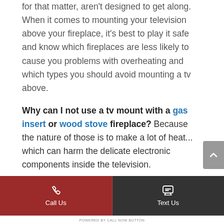for that matter, aren't designed to get along. When it comes to mounting your television above your fireplace, it's best to play it safe and know which fireplaces are less likely to cause you problems with overheating and which types you should avoid mounting a tv above.
Why can I not use a tv mount with a gas insert or wood stove fireplace? Because the nature of those is to make a lot of heat... which can harm the delicate electronic components inside the television.
POWERED BY CALL NOW BUTTON